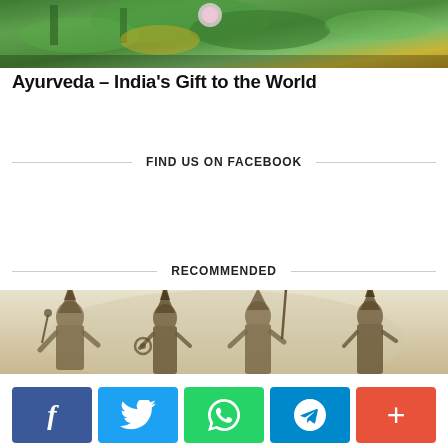[Figure (photo): Top image showing lotus leaves and flowers with green foliage, partially cropped at top of page]
Ayurveda – India's Gift to the World
FIND US ON FACEBOOK
RECOMMENDED
[Figure (illustration): Black and white engraving showing three Hindu deities standing with various ornaments and weapons including a trident and staff]
[Figure (infographic): Social sharing bar with Facebook (blue), Twitter (light blue), WhatsApp (green), Telegram (cyan), and More (orange-red) buttons]